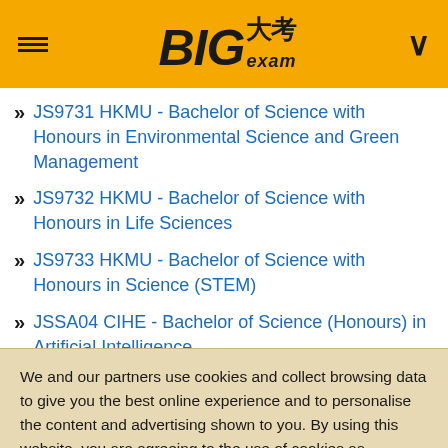BIG大考 exam
JS9731 HKMU - Bachelor of Science with Honours in Environmental Science and Green Management
JS9732 HKMU - Bachelor of Science with Honours in Life Sciences
JS9733 HKMU - Bachelor of Science with Honours in Science (STEM)
JSSA04 CIHE - Bachelor of Science (Honours) in Artificial Intelligence
We and our partners use cookies and collect browsing data to give you the best online experience and to personalise the content and advertising shown to you. By using this website, you are agreeing to the use of cookies as explained in our Privacy Policy. To know more, please visit: Privacy Policy
Copyright...